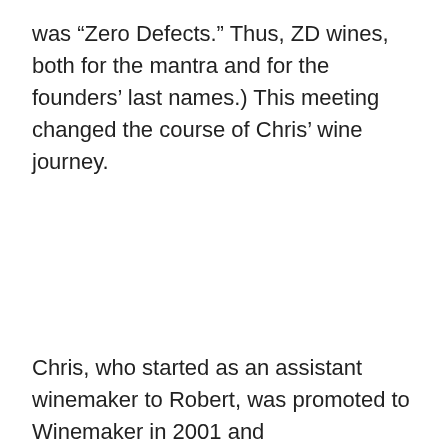was “Zero Defects.” Thus, ZD wines, both for the mantra and for the founders’ last names.) This meeting changed the course of Chris’ wine journey.
Chris, who started as an assistant winemaker to Robert, was promoted to Winemaker in 2001 and